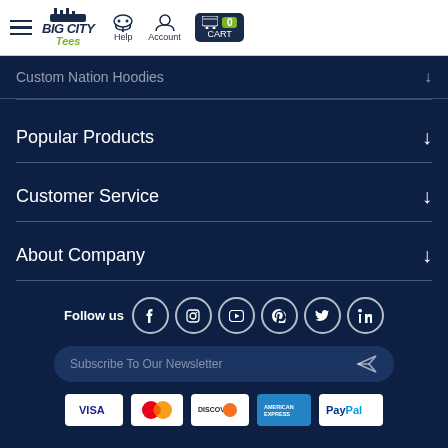[Figure (screenshot): Big City Tees website header with hamburger menu, logo, Help icon, Account icon, and Cart button showing 0 items]
Custom Nation Hoodies (partially visible)
Popular Products ↓
Customer Service ↓
About Company ↓
Follow us
[Figure (infographic): Social media icons row: Facebook, Instagram, YouTube, Pinterest, Twitter, LinkedIn]
Subscribe To Our Newsletter
[Figure (infographic): Payment method logos: Visa, MasterCard, Discover, American Express, PayPal]